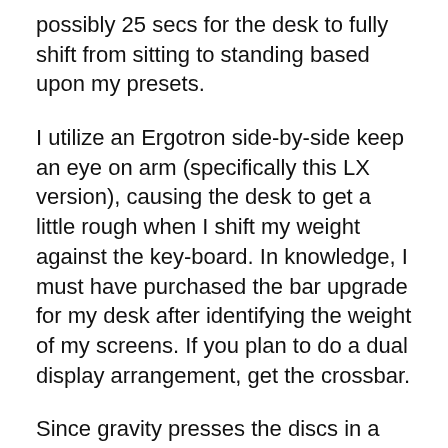possibly 25 secs for the desk to fully shift from sitting to standing based upon my presets.
I utilize an Ergotron side-by-side keep an eye on arm (specifically this LX version), causing the desk to get a little rough when I shift my weight against the key-board. In knowledge, I must have purchased the bar upgrade for my desk after identifying the weight of my screens. If you plan to do a dual display arrangement, get the crossbar.
Since gravity presses the discs in a human spine, I need to elevate the desk higher in the morning as well as reduced it at night.
An anti-fatigue floor covering is absolutely